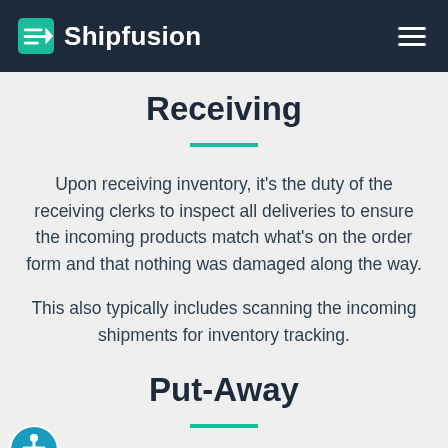Shipfusion
Receiving
Upon receiving inventory, it's the duty of the receiving clerks to inspect all deliveries to ensure the incoming products match what's on the order form and that nothing was damaged along the way.
This also typically includes scanning the incoming shipments for inventory tracking.
Put-Away
Once the inventory is received, the warehouse workers